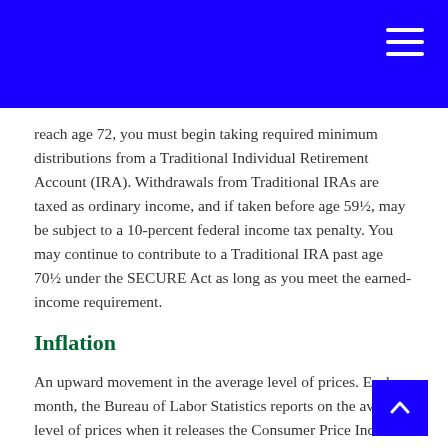reach age 72, you must begin taking required minimum distributions from a Traditional Individual Retirement Account (IRA). Withdrawals from Traditional IRAs are taxed as ordinary income, and if taken before age 59½, may be subject to a 10-percent federal income tax penalty. You may continue to contribute to a Traditional IRA past age 70½ under the SECURE Act as long as you meet the earned-income requirement.
Inflation
An upward movement in the average level of prices. Each month, the Bureau of Labor Statistics reports on the average level of prices when it releases the Consumer Price Index (CPI).
Initial Public Offering (IPO)